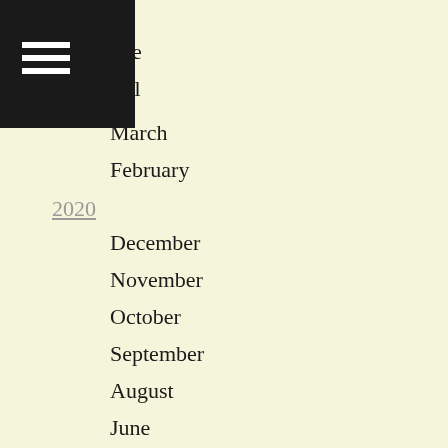ily
une
pril
March
February
2020
December
November
October
September
August
June
May
March
January
2019
December
September
August
July
June
May